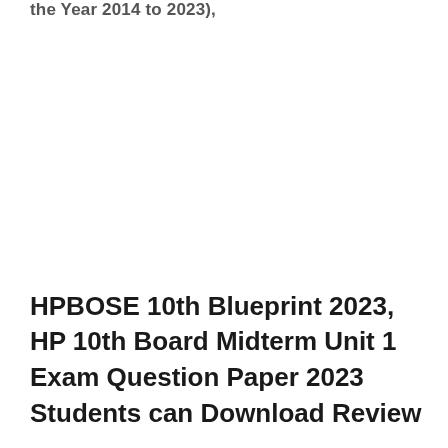the Year 2014 to 2023),
HPBOSE 10th Blueprint 2023, HP 10th Board Midterm Unit 1 Exam Question Paper 2023 Students can Download Review